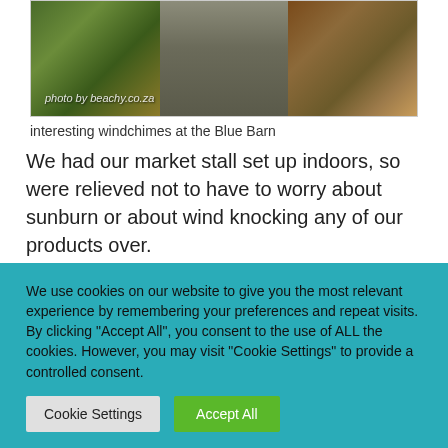[Figure (photo): Outdoor market scene with windchimes, decorative items, tree trunks, and colorful crafts. Watermark reads 'photo by beachy.co.za']
interesting windchimes at the Blue Barn
We had our market stall set up indoors, so were relieved not to have to worry about sunburn or about wind knocking any of our products over.
[Figure (photo): Indoor market stall with colorful crafts, textiles, and decorative items on display.]
We use cookies on our website to give you the most relevant experience by remembering your preferences and repeat visits. By clicking "Accept All", you consent to the use of ALL the cookies. However, you may visit "Cookie Settings" to provide a controlled consent.